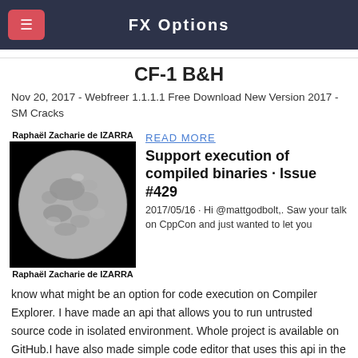FX Options
CF-1 B&H
Nov 20, 2017 - Webfreer 1.1.1.1 Free Download New Version 2017 - SM Cracks
[Figure (photo): Black and white photo of a full moon against a black background, labeled 'Raphaël Zacharie de IZARRA' at top and bottom.]
READ MORE
Support execution of compiled binaries · Issue #429
2017/05/16 · Hi @mattgodbolt,. Saw your talk on CppCon and just wanted to let you know what might be an option for code execution on Compiler Explorer. I have made an api that allows you to run untrusted source code in isolated environment. Whole project is available on GitHub.I have also made simple code editor that uses this api in the background ().Currently, this API doesn't support as much GCCs as